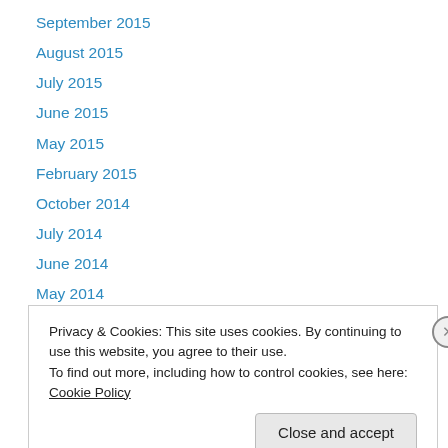September 2015
August 2015
July 2015
June 2015
May 2015
February 2015
October 2014
July 2014
June 2014
May 2014
April 2014
March 2014
February 2014
Privacy & Cookies: This site uses cookies. By continuing to use this website, you agree to their use.
To find out more, including how to control cookies, see here: Cookie Policy
Close and accept